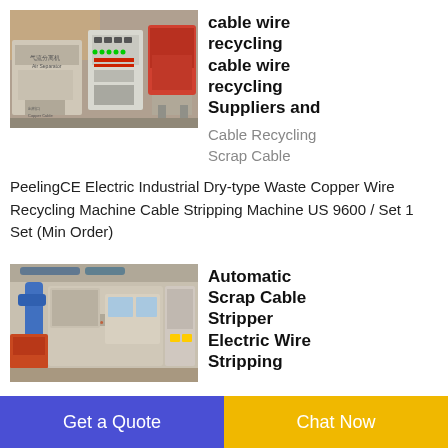[Figure (photo): Cable wire recycling machine with control panel and red components in a factory setting]
cable wire recycling cable wire recycling Suppliers and
Cable Recycling Scrap Cable
PeelingCE Electric Industrial Dry-type Waste Copper Wire Recycling Machine Cable Stripping Machine US 9600 / Set 1 Set (Min Order)
[Figure (photo): Automatic Scrap Cable Stripper Electric Wire Stripping machine in a factory]
Automatic Scrap Cable Stripper Electric Wire Stripping
Get a Quote
Chat Now